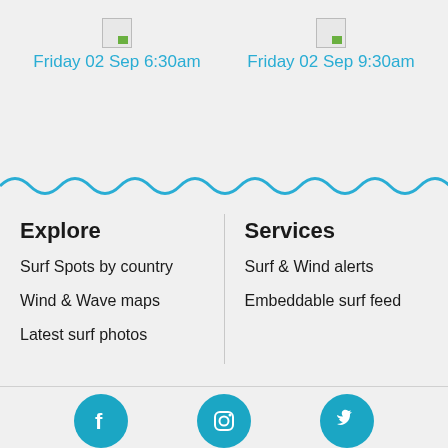Friday 02 Sep 6:30am
Friday 02 Sep 9:30am
[Figure (illustration): Wavy blue divider line]
Explore
Surf Spots by country
Wind & Wave maps
Latest surf photos
Services
Surf & Wind alerts
Embeddable surf feed
[Figure (illustration): Social media icons: Facebook, Instagram, Twitter]